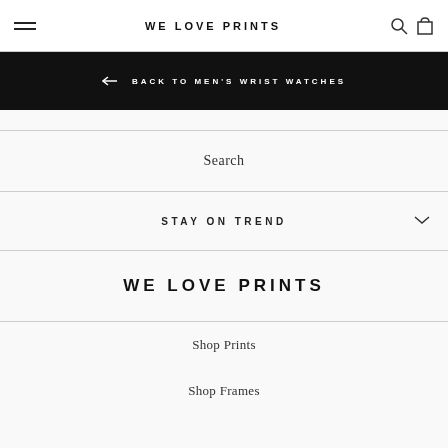WE LOVE PRINTS
← BACK TO MEN'S WRIST WATCHES
Search
STAY ON TREND
WE LOVE PRINTS
Shop Prints
Shop Frames